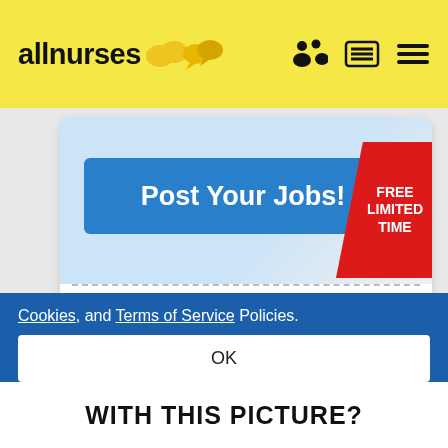[Figure (screenshot): allnurses website header with yellow background, logo text 'allnurses' with speech bubble icons, and navigation icons (people, menu, hamburger)]
[Figure (screenshot): Advertisement card showing 'Post Your Jobs!' blue button and 'FREE LIMITED TIME' red badge on a light blue background]
Unlimited Job Postings
Post your jobs FREE! Limited Time
Cookies, and Terms of Service Policies.
OK
WITH THIS PICTURE?